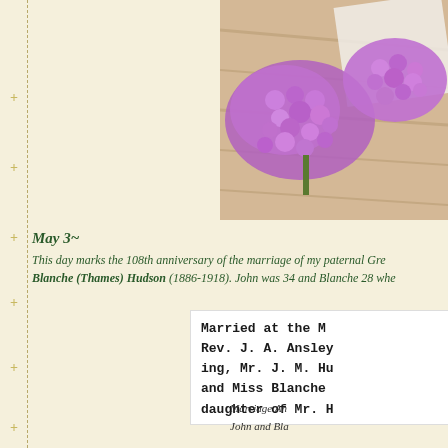[Figure (photo): Purple lilac flowers on a wooden surface with white lace or paper, cropped at top right of page]
May 3~
This day marks the 108th anniversary of the marriage of my paternal Gre... Blanche (Thames) Hudson (1886-1918). John was 34 and Blanche 28 whe...
[Figure (photo): Clipping from a newspaper about a marriage: Married at the [church], Rev. J. A. Ansley... ing, Mr. J. M. Hu... and Miss Blanche... daughter of Mr. H...]
Marriage An...
John and Bla...